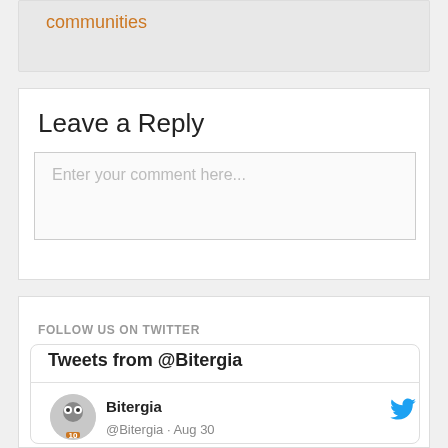communities
Leave a Reply
Enter your comment here...
FOLLOW US ON TWITTER
Tweets from @Bitergia
Bitergia
@Bitergia · Aug 30